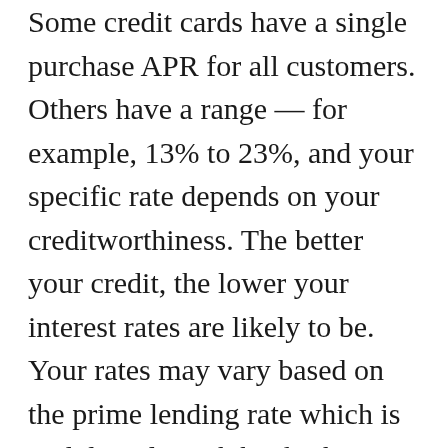Some credit cards have a single purchase APR for all customers. Others have a range — for example, 13% to 23%, and your specific rate depends on your creditworthiness. The better your credit, the lower your interest rates are likely to be. Your rates may vary based on the prime lending rate which is tied directly with banks' biggest clients' interests in mind or even rewards type credits that carry higher APRs as well regardless if you're qualified according to their standards. Some types of these include rewards-based ones which tend to make up an overall more expensive card...